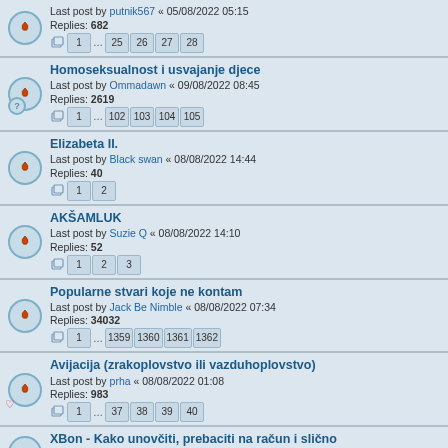Last post by putnik567 « 05/08/2022 05:15
Replies: 682
Pages: 1 ... 25 26 27 28
Homoseksualnost i usvajanje djece
Last post by Ommadawn « 09/08/2022 08:45
Replies: 2619
Pages: 1 ... 102 103 104 105
Elizabeta II.
Last post by Black swan « 08/08/2022 14:44
Replies: 40
Pages: 1 2
AKŠAMLUK
Last post by Suzie Q « 08/08/2022 14:10
Replies: 52
Pages: 1 2 3
Popularne stvari koje ne kontam
Last post by Jack Be Nimble « 08/08/2022 07:34
Replies: 34032
Pages: 1 ... 1359 1360 1361 1362
Avijacija (zrakoplovstvo ili vazduhoplovstvo)
Last post by prha « 08/08/2022 01:08
Replies: 983
Pages: 1 ... 37 38 39 40
XBon - Kako unovčiti, prebaciti na račun i slično
Last post by Heller « 07/08/2022 22:06
Replies: 5
Feel Old Yet?
Last post by Sanjarko « 07/08/2022 21:04
Replies: 589
Pages: 1 ... 21 22 23 24
Potreban savjet: kako se nositi sa primitivnim i ljubomornim